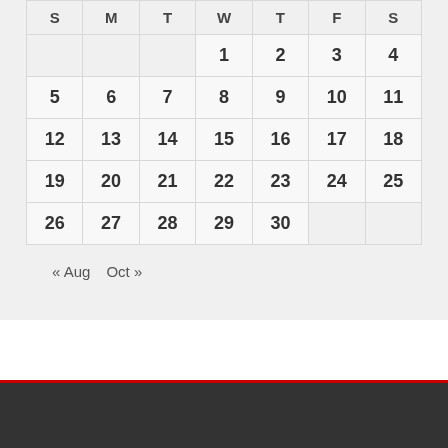| S | M | T | W | T | F | S |
| --- | --- | --- | --- | --- | --- | --- |
|  |  |  | 1 | 2 | 3 | 4 |
| 5 | 6 | 7 | 8 | 9 | 10 | 11 |
| 12 | 13 | 14 | 15 | 16 | 17 | 18 |
| 19 | 20 | 21 | 22 | 23 | 24 | 25 |
| 26 | 27 | 28 | 29 | 30 |  |  |
« Aug   Oct »